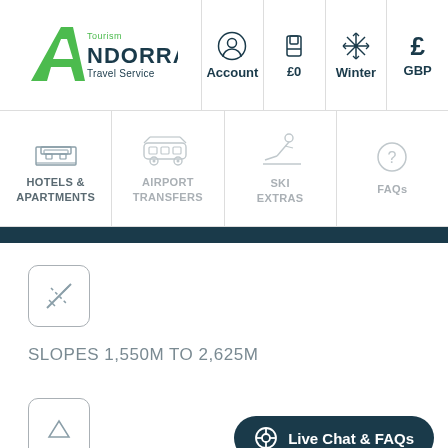[Figure (screenshot): Andorra Tourism Travel Service logo with green mountain A and dark blue text]
Account
£0
Winter
GBP
HOTELS & APARTMENTS
AIRPORT TRANSFERS
SKI EXTRAS
FAQs
[Figure (illustration): Ski slopes icon in a rounded square box]
SLOPES 1,550M TO 2,625M
[Figure (illustration): Mountain/upward arrow icon in a rounded square box]
Live Chat & FAQs